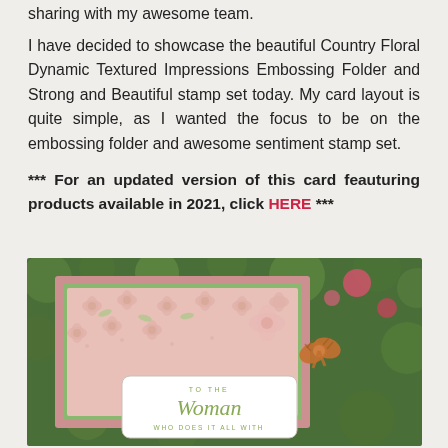sharing with my awesome team.
I have decided to showcase the beautiful Country Floral Dynamic Textured Impressions Embossing Folder and Strong and Beautiful stamp set today. My card layout is quite simple, as I wanted the focus to be on the embossing folder and awesome sentiment stamp set.
*** For an updated version of this card feauturing products available in 2021, click HERE ***
[Figure (photo): A handmade greeting card featuring a pink embossed floral pattern (Country Floral Dynamic Textured Impressions Embossing Folder), with a white oval sentiment label reading 'TO THE Woman WHO DOES IT ALL WITH', an orange bow, set against a green bokeh background.]